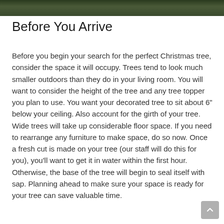[Figure (photo): Dark green outdoor foliage photo strip at top of page]
Before You Arrive
Before you begin your search for the perfect Christmas tree, consider the space it will occupy. Trees tend to look much smaller outdoors than they do in your living room. You will want to consider the height of the tree and any tree topper you plan to use. You want your decorated tree to sit about 6" below your ceiling. Also account for the girth of your tree. Wide trees will take up considerable floor space. If you need to rearrange any furniture to make space, do so now. Once a fresh cut is made on your tree (our staff will do this for you), you'll want to get it in water within the first hour. Otherwise, the base of the tree will begin to seal itself with sap. Planning ahead to make sure your space is ready for your tree can save valuable time.